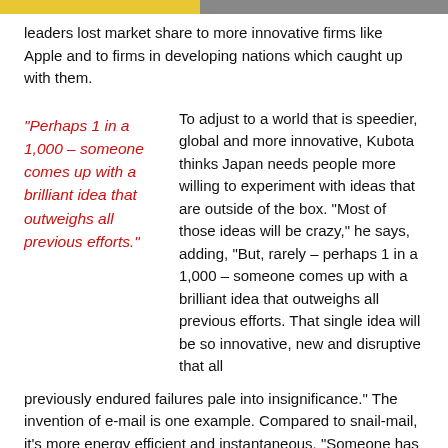leaders lost market share to more innovative firms like Apple and to firms in developing nations which caught up with them.
“Perhaps 1 in a 1,000 – someone comes up with a brilliant idea that outweighs all previous efforts.”
To adjust to a world that is speedier, global and more innovative, Kubota thinks Japan needs people more willing to experiment with ideas that are outside of the box. “Most of those ideas will be crazy,” he says, adding, “But, rarely – perhaps 1 in a 1,000 – someone comes up with a brilliant idea that outweighs all previous efforts. That single idea will be so innovative, new and disruptive that all previously endured failures pale into insignificance.” The invention of e-mail is one example. Compared to snail-mail, it’s more energy efficient and instantaneous. “Someone has to work on those kinds of ideas if they are to be developed,” he says.
Most pioneering work results in failure. Therefore, people need to